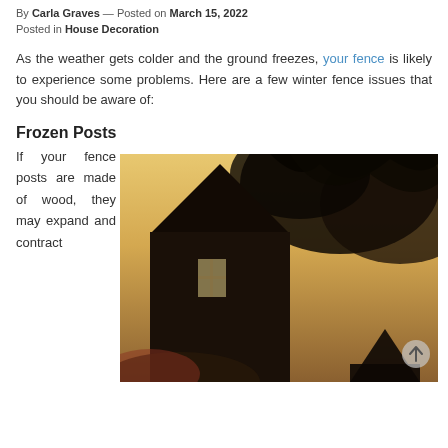By Carla Graves — Posted on March 15, 2022
Posted in House Decoration
As the weather gets colder and the ground freezes, your fence is likely to experience some problems. Here are a few winter fence issues that you should be aware of:
Frozen Posts
[Figure (photo): A dark wooden A-frame house or barn surrounded by autumn trees with warm golden sky in the background, viewed from below at an angle]
If your fence posts are made of wood, they may expand and contract